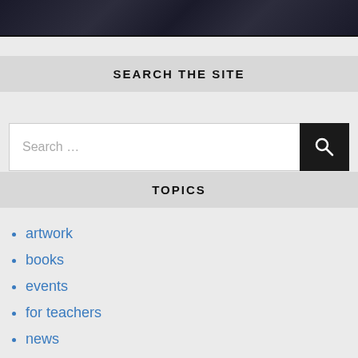[Figure (photo): Dark/black partial photo strip showing figures in dark clothing at the top of the page]
SEARCH THE SITE
Search …
TOPICS
artwork
books
events
for teachers
news
the making of …